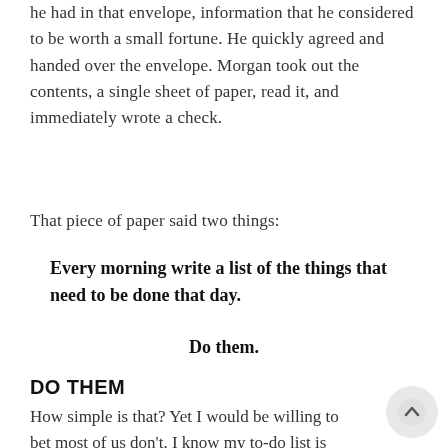he had in that envelope, information that he considered to be worth a small fortune. He quickly agreed and handed over the envelope. Morgan took out the contents, a single sheet of paper, read it, and immediately wrote a check.
That piece of paper said two things:
Every morning write a list of the things that need to be done that day.
Do them.
DO THEM
How simple is that? Yet I would be willing to bet most of us don't. I know my to-do list is LONG. It's so